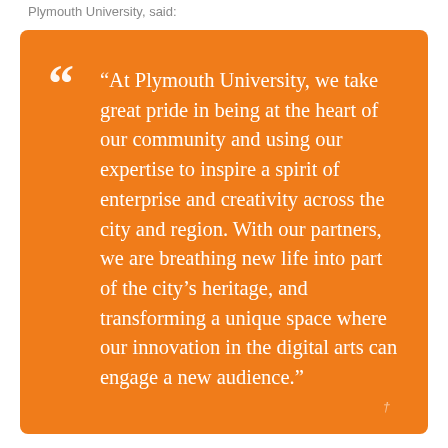Plymouth University, said:
“At Plymouth University, we take great pride in being at the heart of our community and using our expertise to inspire a spirit of enterprise and creativity across the city and region. With our partners, we are breathing new life into part of the city’s heritage, and transforming a unique space where our innovation in the digital arts can engage a new audience.”